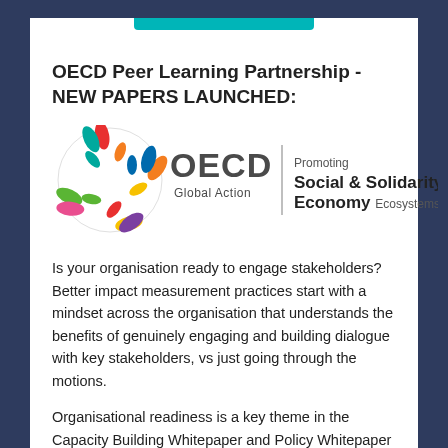[Figure (logo): OECD Global Action logo with colorful hands and text 'Promoting Social & Solidarity Economy Ecosystems']
OECD Peer Learning Partnership - NEW PAPERS LAUNCHED:
Is your organisation ready to engage stakeholders? Better impact measurement practices start with a mindset across the organisation that understands the benefits of genuinely engaging and building dialogue with key stakeholders, vs just going through the motions.
Organisational readiness is a key theme in the Capacity Building Whitepaper and Policy Whitepaper just released from the #OECD